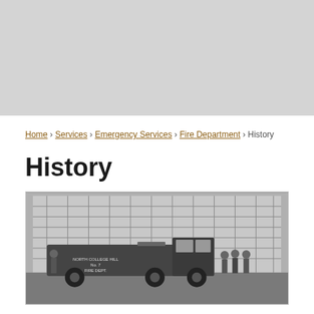Home › Services › Emergency Services › Fire Department › History
History
[Figure (photo): Black and white historical photograph of North College Hill Fire Department No. 7 vehicle (fire truck/ambulance) parked in front of a large building with grid windows. Several men in uniform stand beside the vehicle which has 'NORTH COLLEGE HILL No. 7 FIRE DEPT.' written on it.]